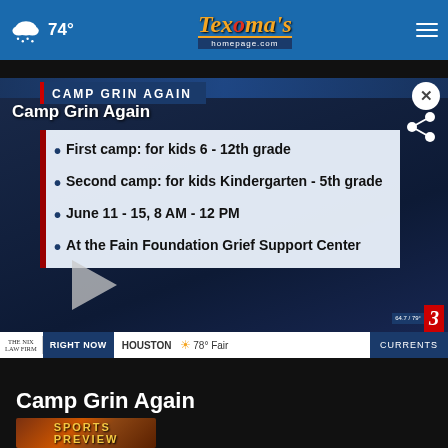☁ 74° | Texoma's homepage.com
[Figure (screenshot): TV news video player showing Camp Grin Again segment with bullet points listing: First camp: for kids 6 - 12th grade; Second camp: for kids Kindergarten - 5th grade; June 11 - 15, 8 AM - 12 PM; At the Fain Foundation Grief Support Center. Bottom ticker shows Houston 78° Fair. Channel 3 bug visible.]
Camp Grin Again
[Figure (photo): Sports Preview thumbnail image with orange/brown textured background]